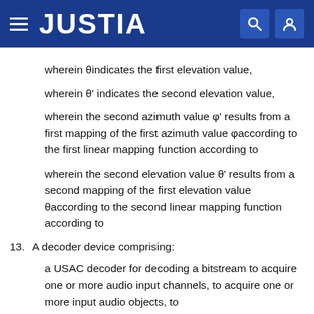JUSTIA
wherein θindicates the first elevation value,
wherein θ' indicates the second elevation value,
wherein the second azimuth value φ' results from a first mapping of the first azimuth value φaccording to the first linear mapping function according to
wherein the second elevation value θ' results from a second mapping of the first elevation value θaccording to the second linear mapping function according to
13. A decoder device comprising:
a USAC decoder for decoding a bitstream to acquire one or more audio input channels, to acquire one or more input audio objects, to